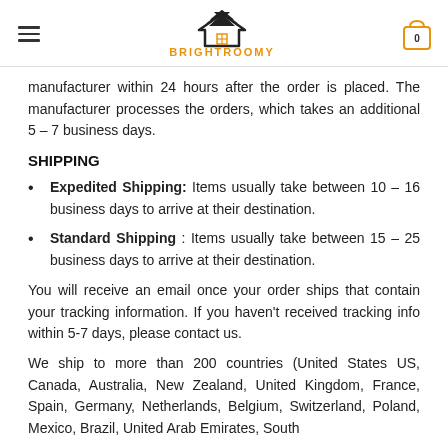BRIGHTROOMY
manufacturer within 24 hours after the order is placed. The manufacturer processes the orders, which takes an additional 5 – 7 business days.
SHIPPING
Expedited Shipping: Items usually take between 10 – 16 business days to arrive at their destination.
Standard Shipping : Items usually take between 15 – 25 business days to arrive at their destination.
You will receive an email once your order ships that contain your tracking information. If you haven't received tracking info within 5-7 days, please contact us.
We ship to more than 200 countries (United States US, Canada, Australia, New Zealand, United Kingdom, France, Spain, Germany, Netherlands, Belgium, Switzerland, Poland, Mexico, Brazil, United Arab Emirates, South